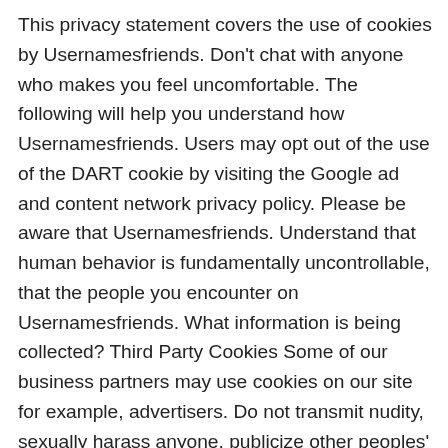This privacy statement covers the use of cookies by Usernamesfriends. Don't chat with anyone who makes you feel uncomfortable. The following will help you understand how Usernamesfriends. Users may opt out of the use of the DART cookie by visiting the Google ad and content network privacy policy. Please be aware that Usernamesfriends. Understand that human behavior is fundamentally uncontrollable, that the people you encounter on Usernamesfriends. What information is being collected? Third Party Cookies Some of our business partners may use cookies on our site for example, advertisers. Do not transmit nudity, sexually harass anyone, publicize other peoples' private information, make statements that defame or libel anyone, violate intellectual property rights, use automated programs to interact with Usernamesfriends, or behave in any other inappropriate or illegal way on Usernamesfriends 5. Do not browse Usernamesfriends if you are under